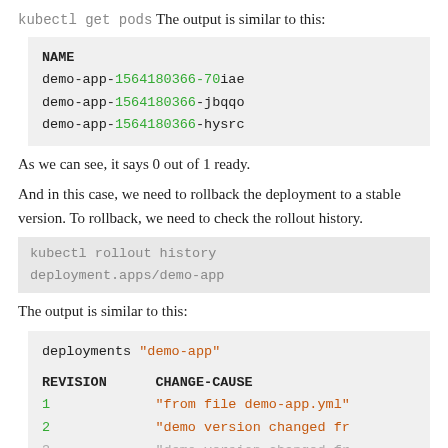kubectl get pods The output is similar to this:
NAME
demo-app-1564180366-70iae
demo-app-1564180366-jbqqo
demo-app-1564180366-hysrc
As we can see, it says 0 out of 1 ready.
And in this case, we need to rollback the deployment to a stable version. To rollback, we need to check the rollout history.
kubectl rollout history deployment.apps/demo-app
The output is similar to this:
deployments "demo-app"
REVISION    CHANGE-CAUSE
1           "from file demo-app.yml"
2           "demo version changed fr
3           "demo version changed fr